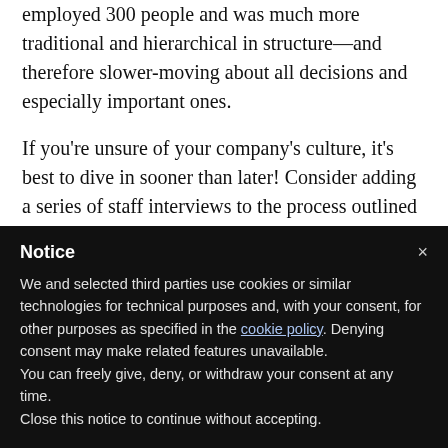employed 300 people and was much more traditional and hierarchical in structure—and therefore slower-moving about all decisions and especially important ones.
If you're unsure of your company's culture, it's best to dive in sooner than later! Consider adding a series of staff interviews to the process outlined in point #1. If you can, talk with a range of current and former employees, as current staff may be reluctant to voice negative
Notice
We and selected third parties use cookies or similar technologies for technical purposes and, with your consent, for other purposes as specified in the cookie policy. Denying consent may make related features unavailable.
You can freely give, deny, or withdraw your consent at any time.
Close this notice to continue without accepting.